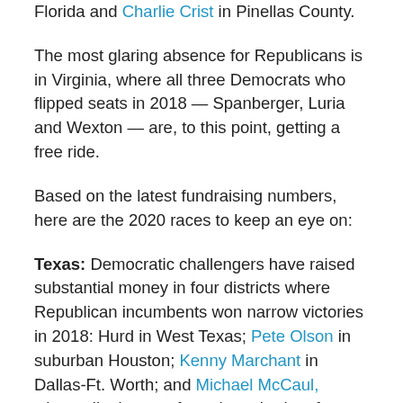Florida and Charlie Crist in Pinellas County.
The most glaring absence for Republicans is in Virginia, where all three Democrats who flipped seats in 2018 — Spanberger, Luria and Wexton — are, to this point, getting a free ride.
Based on the latest fundraising numbers, here are the 2020 races to keep an eye on:
Texas: Democratic challengers have raised substantial money in four districts where Republican incumbents won narrow victories in 2018: Hurd in West Texas; Pete Olson in suburban Houston; Kenny Marchant in Dallas-Ft. Worth; and Michael McCaul, whose district runs from the suburbs of Austin to the suburbs of Houston. All four incumbents still hold a fundraising advantage, although Olson has only raised $230,000 more than Democrat Sri Kulkarni, whom